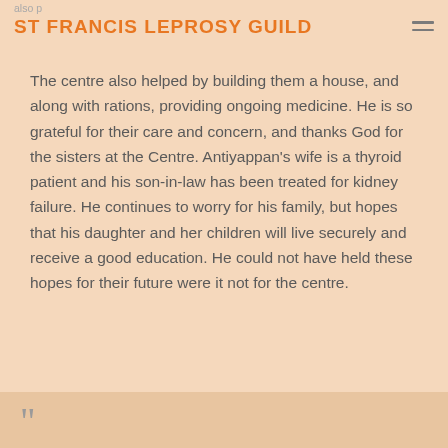ST FRANCIS LEPROSY GUILD
The centre also helped by building them a house, and along with rations, providing ongoing medicine. He is so grateful for their care and concern, and thanks God for the sisters at the Centre. Antiyappan's wife is a thyroid patient and his son-in-law has been treated for kidney failure. He continues to worry for his family, but hopes that his daughter and her children will live securely and receive a good education. He could not have held these hopes for their future were it not for the centre.